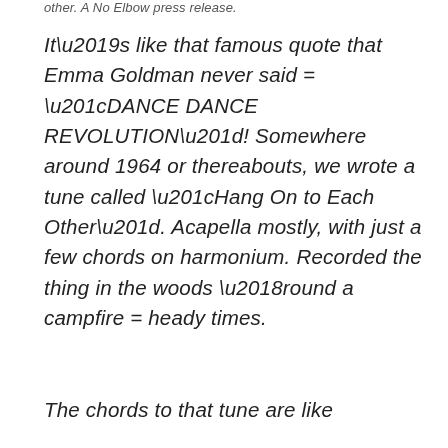other. A No Elbow press release.
It’s like that famous quote that Emma Goldman never said = “DANCE DANCE REVOLUTION”! Somewhere around 1964 or thereabouts, we wrote a tune called “Hang On to Each Other”. Acapella mostly, with just a few chords on harmonium. Recorded the thing in the woods ‘round a campfire = heady times.
The chords to that tune are like